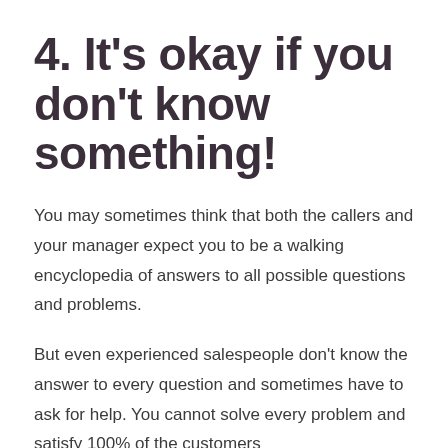4. It's okay if you don't know something!
You may sometimes think that both the callers and your manager expect you to be a walking encyclopedia of answers to all possible questions and problems.
But even experienced salespeople don't know the answer to every question and sometimes have to ask for help. You cannot solve every problem and satisfy 100% of the customers